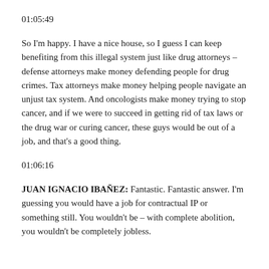01:05:49
So I'm happy.  I have a nice house, so I guess I can keep benefiting from this illegal system just like drug attorneys – defense attorneys make money defending people for drug crimes.  Tax attorneys make money helping people navigate an unjust tax system.  And oncologists make money trying to stop cancer, and if we were to succeed in getting rid of tax laws or the drug war or curing cancer, these guys would be out of a job, and that's a good thing.
01:06:16
JUAN IGNACIO IBAÑEZ: Fantastic.  Fantastic answer.  I'm guessing you would have a job for contractual IP or something still.  You wouldn't be – with complete abolition, you wouldn't be completely jobless.